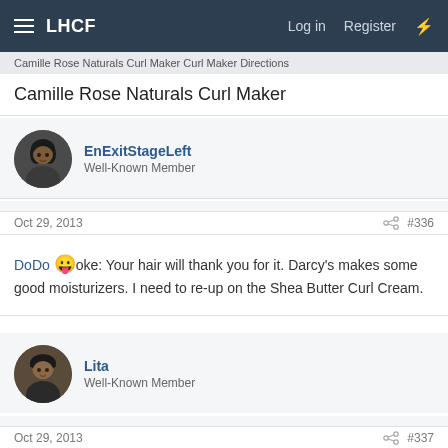LHCF  Log in  Register
Camille Rose Naturals Curl Maker (breadcrumb, truncated)
Camille Rose Naturals Curl Maker
EnExitStageLeft
Well-Known Member
Oct 29, 2013   #336
DoDo :p oke: Your hair will thank you for it. Darcy's makes some good moisturizers. I need to re-up on the Shea Butter Curl Cream.
Lita
Well-Known Member
Oct 29, 2013   #337